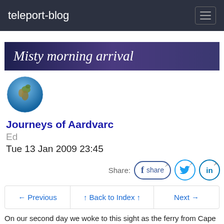teleport-blog
Misty morning arrival
[Figure (illustration): Globe icon showing Earth with blue oceans and green/brown continents]
Journeys of Aardvarc
Ed
Tue 13 Jan 2009 23:45
Share:
← Previous   ↑ Back to Index ↑   Next →
On our second day we woke to this sight as the ferry from Cape Town arrived